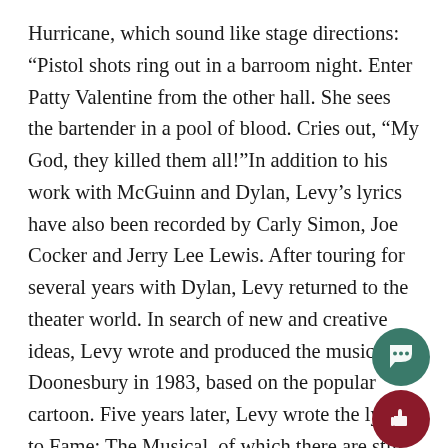Hurricane, which sound like stage directions: “Pistol shots ring out in a barroom night. Enter Patty Valentine from the other hall. She sees the bartender in a pool of blood. Cries out, “My God, they killed them all!”In addition to his work with McGuinn and Dylan, Levy’s lyrics have also been recorded by Carly Simon, Joe Cocker and Jerry Lee Lewis. After touring for several years with Dylan, Levy returned to the theater world. In search of new and creative ideas, Levy wrote and produced the musical Doonesbury in 1983, based on the popular cartoon. Five years later, Levy wrote the lyrics to Fame: The Musical, of which there are still currently 40 productions touring across the world. Academia beckoned Levy, however, and he began to teach playwriting and directing at New York University, Columbia and Yale in the late 1980s, eventually winding up at Colgate in 1992. “Whenever he would open a play, we would go to the Colgate Inn,” recalls Professor of English Margret Maurer, who played the part of Abigail in the reading of A Cold